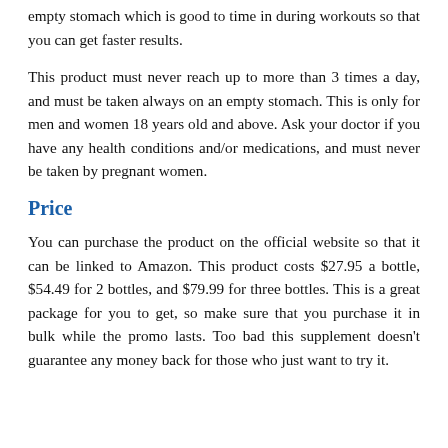empty stomach which is good to time in during workouts so that you can get faster results.
This product must never reach up to more than 3 times a day, and must be taken always on an empty stomach. This is only for men and women 18 years old and above. Ask your doctor if you have any health conditions and/or medications, and must never be taken by pregnant women.
Price
You can purchase the product on the official website so that it can be linked to Amazon. This product costs $27.95 a bottle, $54.49 for 2 bottles, and $79.99 for three bottles. This is a great package for you to get, so make sure that you purchase it in bulk while the promo lasts. Too bad this supplement doesn't guarantee any money back for those who just want to try it.